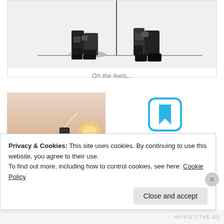[Figure (photo): Black and white photo of people in tactical/military gear, crouching near a pole, showing boots and lower body]
Oh the feels...
[Figure (photo): Person in white t-shirt photographing a sunset landscape with a smartphone, viewed from behind]
[Figure (logo): Day One Journal app icon - blue square with bookmark symbol, with brand name DAYONE JOURNAL below]
Over 150,000 5-star reviews
★★★★★
Get the app
Privacy & Cookies: This site uses cookies. By continuing to use this website, you agree to their use.
To find out more, including how to control cookies, see here: Cookie Policy
Close and accept